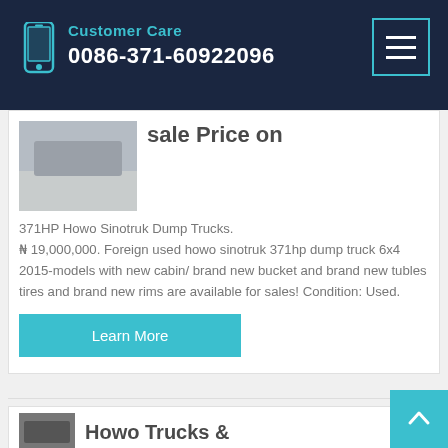Customer Care
0086-371-60922096
sale Price on
371HP Howo Sinotruk Dump Trucks. ₦ 19,000,000. Foreign used howo sinotruk 371hp dump truck 6x4 2015-models with new cabin/ brand new bucket and brand new tubles tires and brand new rims are available for sales! Condition: Used.
Learn More
Howo Trucks &